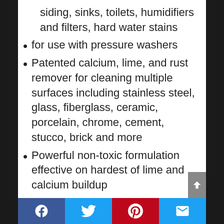siding, sinks, toilets, humidifiers and filters, hard water stains
for use with pressure washers
Patented calcium, lime, and rust remover for cleaning multiple surfaces including stainless steel, glass, fiberglass, ceramic, porcelain, chrome, cement, stucco, brick and more
Powerful non-toxic formulation effective on hardest of lime and calcium buildup
Great for cleaning coffee pots, coffee makers, commercial washing